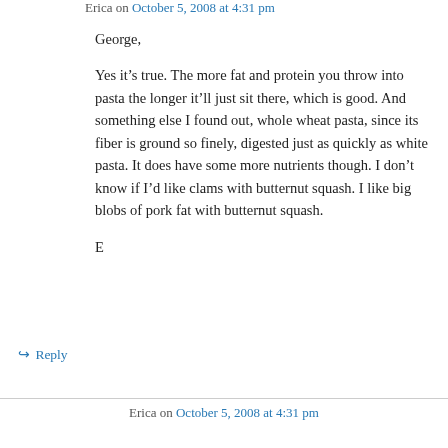Erica on October 5, 2008 at 4:31 pm
George,
Yes it’s true. The more fat and protein you throw into pasta the longer it’ll just sit there, which is good. And something else I found out, whole wheat pasta, since its fiber is ground so finely, digested just as quickly as white pasta. It does have some more nutrients though. I don’t know if I’d like clams with butternut squash. I like big blobs of pork fat with butternut squash.
E
↳ Reply
Erica on October 5, 2008 at 4:31 pm